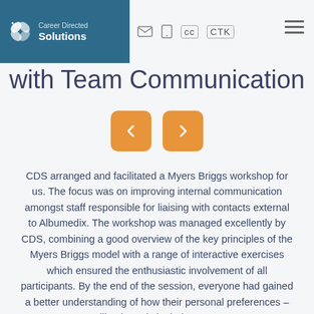[Figure (logo): Career Directed Solutions logo with butterfly/leaf icon on teal background, white text reading 'Career Directed Solutions']
[ email icon ] [ phone icon ] [ CC ] [ CTK ] [ hamburger menu ]
with Team Communication
[Figure (other): Two orange navigation arrow buttons, left chevron and right chevron]
CDS arranged and facilitated a Myers Briggs workshop for us. The focus was on improving internal communication amongst staff responsible for liaising with contacts external to Albumedix. The workshop was managed excellently by CDS, combining a good overview of the key principles of the Myers Briggs model with a range of interactive exercises which ensured the enthusiastic involvement of all participants. By the end of the session, everyone had gained a better understanding of how their personal preferences – illuminated via their MBTI